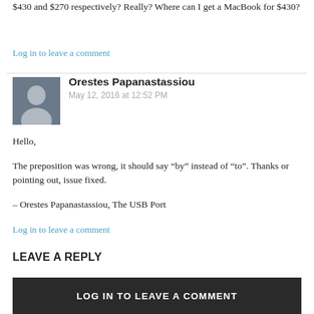$430 and $270 respectively? Really? Where can I get a MacBook for $430?
Log in to leave a comment
Orestes Papanastassiou
May 12, 2016 at 12:52 PM
Hello,

The preposition was wrong, it should say “by” instead of “to”. Thanks or pointing out, issue fixed.

– Orestes Papanastassiou, The USB Port
Log in to leave a comment
LEAVE A REPLY
LOG IN TO LEAVE A COMMENT